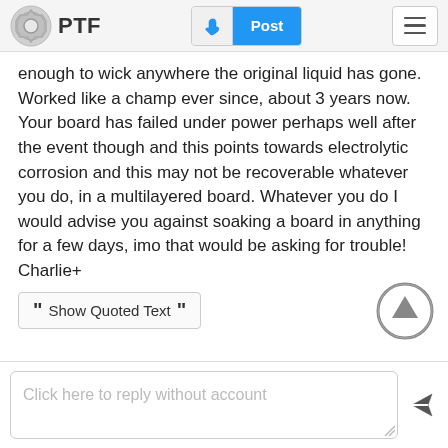PTF | Post
enough to wick anywhere the original liquid has gone. Worked like a champ ever since, about 3 years now. Your board has failed under power perhaps well after the event though and this points towards electrolytic corrosion and this may not be recoverable whatever you do, in a multilayered board. Whatever you do I would advise you against soaking a board in anything for a few days, imo that would be asking for trouble! Charlie+
Show Quoted Text
Click here to reply without account